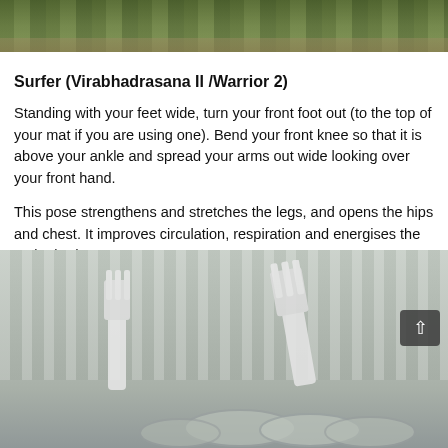[Figure (photo): Top portion of outdoor photo showing grass and ground, cropped at top of page]
Surfer (Virabhadrasana II /Warrior 2)
Standing with your feet wide, turn your front foot out (to the top of your mat if you are using one). Bend your front knee so that it is above your ankle and spread your arms out wide looking over your front hand.
This pose strengthens and stretches the legs, and opens the hips and chest. It improves circulation, respiration and energises the entire body.
[Figure (photo): Photo of large white plastic forks and circular containers/cans on what appears to be a wooden surface with a fence in the background. Washed-out/overexposed appearance.]